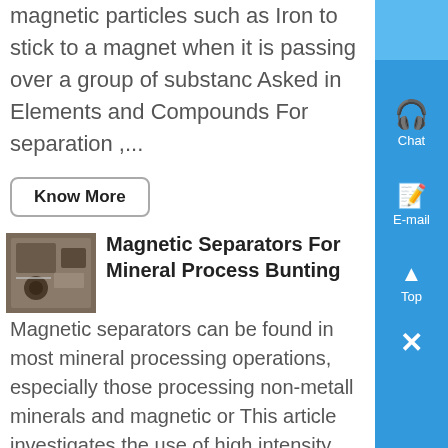magnetic particles such as Iron to stick to a magnet when it is passing over a group of substanc Asked in Elements and Compounds For separation ,...
Know More
[Figure (photo): Photo of magnetic separator equipment, appearing to show industrial machinery with metallic components]
Magnetic Separators For Mineral Process Bunting
Magnetic separators can be found in most mineral processing operations, especially those processing non-metall minerals and magnetic or This article investigates the use of high intensity magnetic separators and magnetic separation equipment in the minerals sector with a focus on processing dry materials in the -15mm, 45 micron size